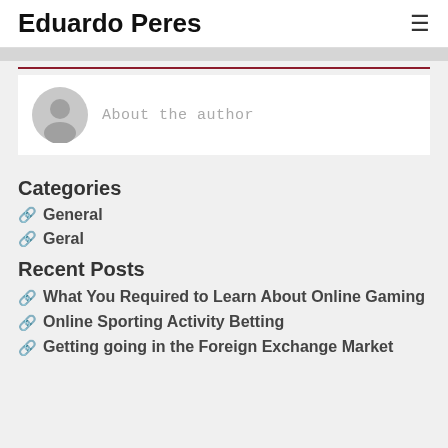Eduardo Peres
[Figure (illustration): Default user avatar icon — gray circle with person silhouette]
About the author
Categories
General
Geral
Recent Posts
What You Required to Learn About Online Gaming
Online Sporting Activity Betting
Getting going in the Foreign Exchange Market